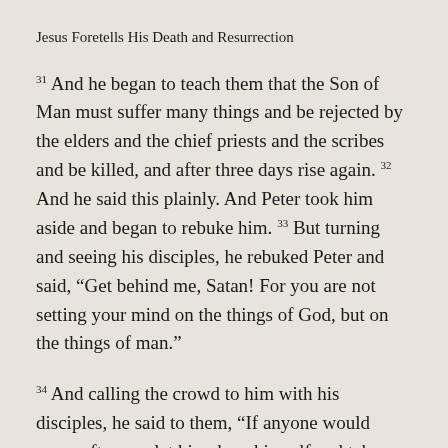Jesus Foretells His Death and Resurrection
31 And he began to teach them that the Son of Man must suffer many things and be rejected by the elders and the chief priests and the scribes and be killed, and after three days rise again. 32 And he said this plainly. And Peter took him aside and began to rebuke him. 33 But turning and seeing his disciples, he rebuked Peter and said, “Get behind me, Satan! For you are not setting your mind on the things of God, but on the things of man.”
34 And calling the crowd to him with his disciples, he said to them, “If anyone would come after me, let him deny himself and take up his cross and follow me.35 For whoever would save his life will lose it, but whoever loses his life for my sake and the gospel’s will save it. 36 For what does it profit a man to gain